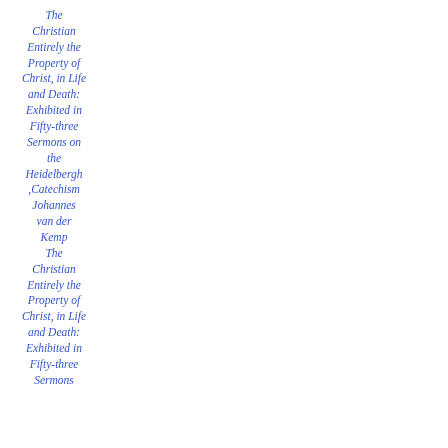The Christian Entirely the Property of Christ, in Life and Death: Exhibited in Fifty-three Sermons on the Heidelbergh Catechism Johannes van der Kemp The Christian Entirely the Property of Christ, in Life and Death: Exhibited in Fifty-three